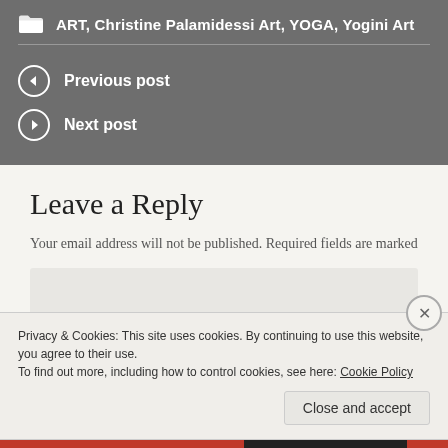ART, Christine Palamidessi Art, YOGA, Yogini Art
Previous post
Next post
Leave a Reply
Your email address will not be published. Required fields are marked
Privacy & Cookies: This site uses cookies. By continuing to use this website, you agree to their use.
To find out more, including how to control cookies, see here: Cookie Policy
Close and accept